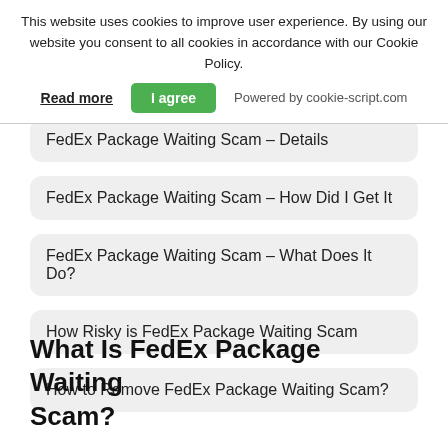This website uses cookies to improve user experience. By using our website you consent to all cookies in accordance with our Cookie Policy.
Read more | I agree | Powered by cookie-script.com
FedEx Package Waiting Scam – Details
FedEx Package Waiting Scam – How Did I Get It
FedEx Package Waiting Scam – What Does It Do?
How Risky is FedEx Package Waiting Scam
How to Remove FedEx Package Waiting Scam?
What Is FedEx Package Waiting Scam?